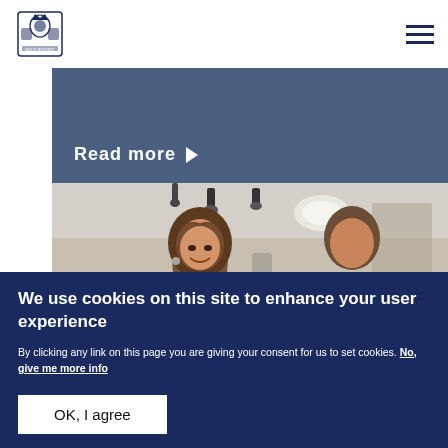[Figure (logo): UK Royal coat of arms logo in blue]
[Figure (illustration): Hamburger menu icon (three horizontal lines)]
[Figure (other): Dark blue-grey banner with Read more link and arrow]
[Figure (photo): Photo of two people smiling in an indoor setting with overhead lighting and an aircraft visible]
We use cookies on this site to enhance your user experience
By clicking any link on this page you are giving your consent for us to set cookies. No, give me more info
OK, I agree